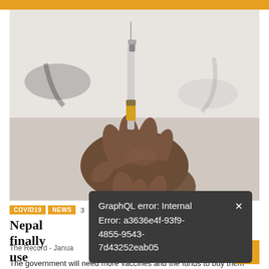[Figure (photo): A healthcare worker in a white lab coat holding a syringe with a yellowish vial, with a stethoscope visible in the background. Close-up of hands preparing an injection.]
COVID19  NEWS  3
Nepal finally                                    rgency use
The Record - Janua
[Figure (screenshot): Error popup overlay with dark background reading: GraphQL error: Internal Error: a3636e4f-93f9-4855-9543-7d43252eab05 with an X close button]
The government will need more vaccines and the funds to buy them